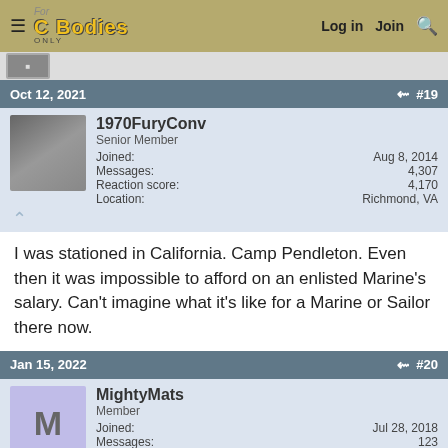For C Bodies Only — Log in  Join  Search
[Figure (screenshot): Forum website navigation bar with logo 'For C Bodies Only', hamburger menu, Log in, Join, and Search icons on gold/olive background]
Oct 12, 2021  #19
1970FuryConv
Senior Member
Joined: Aug 8, 2014
Messages: 4,307
Reaction score: 4,170
Location: Richmond, VA
I was stationed in California. Camp Pendleton. Even then it was impossible to afford on an enlisted Marine's salary. Can't imagine what it's like for a Marine or Sailor there now.
Jan 15, 2022  #20
MightyMats
Member
Joined: Jul 28, 2018
Messages: 123